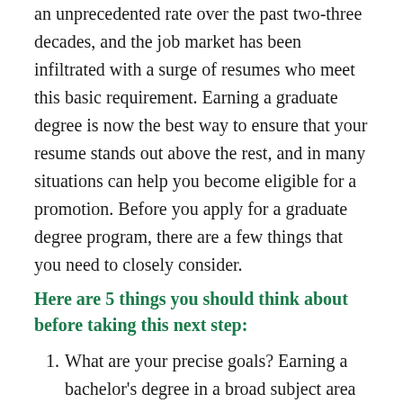an unprecedented rate over the past two-three decades, and the job market has been infiltrated with a surge of resumes who meet this basic requirement. Earning a graduate degree is now the best way to ensure that your resume stands out above the rest, and in many situations can help you become eligible for a promotion. Before you apply for a graduate degree program, there are a few things that you need to closely consider.
Here are 5 things you should think about before taking this next step:
What are your precise goals? Earning a bachelor's degree in a broad subject area makes sense. Most people earn their college degrees around the age of 22. At that age